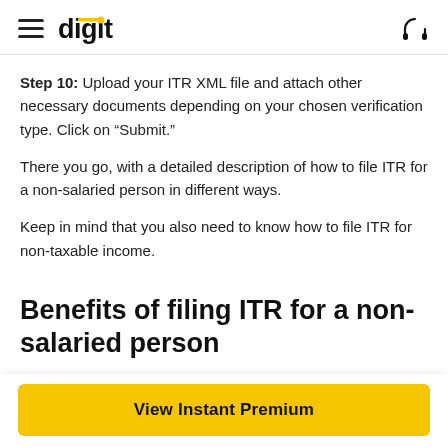digit
Step 10: Upload your ITR XML file and attach other necessary documents depending on your chosen verification type. Click on “Submit.”
There you go, with a detailed description of how to file ITR for a non-salaried person in different ways.
Keep in mind that you also need to know how to file ITR for non-taxable income.
Benefits of filing ITR for a non-salaried person
View Instant Premium